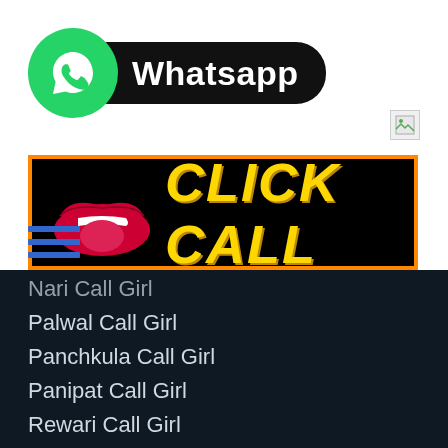[Figure (logo): WhatsApp logo badge with green circle containing white phone/chat icon and black rounded rectangle label reading 'Whatsapp']
[Figure (other): Broken image placeholder icon]
[Figure (other): Click Call banner: black background with orange border, red lips graphic on left, yellow bold italic text 'CLICK CALL' on right]
[Figure (other): Hamburger menu icon with three blue horizontal lines]
Nari Call Girl
Palwal Call Girl
Panchkula Call Girl
Panipat Call Girl
Rewari Call Girl
Rohtak Call Girl
Sirsa Call Girl